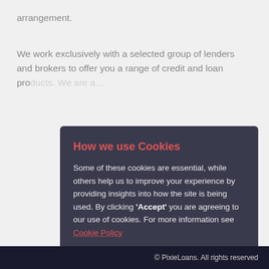arrangement.
We work exclusively with a selected group of lenders and brokers to offer you a range of credit and loan products. We are a...
How we use Cookies
Some of these cookies are essential, while others help us to improve your experience by providing insights into how the site is being used. By clicking 'Accept' you are agreeing to our use of cookies. For more information see Cookie Policy
Accept All Cookies
opt-out of non essential cookies
© PixieLoans. All rights reserved